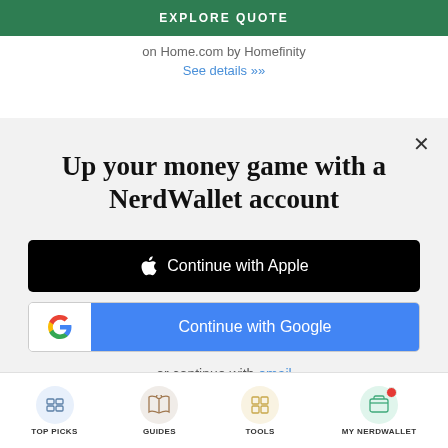[Figure (screenshot): Green EXPLORE QUOTE button at top of page]
on Home.com by Homefinity
See details ››
Up your money game with a NerdWallet account
[Figure (screenshot): Continue with Apple button (black)]
[Figure (screenshot): Continue with Google button (blue with Google G logo)]
or continue with email
By signing up, I agree to NerdWallet's Terms of Service and Privacy Policy.
[Figure (infographic): Bottom navigation bar with TOP PICKS, GUIDES, TOOLS, MY NERDWALLET icons]